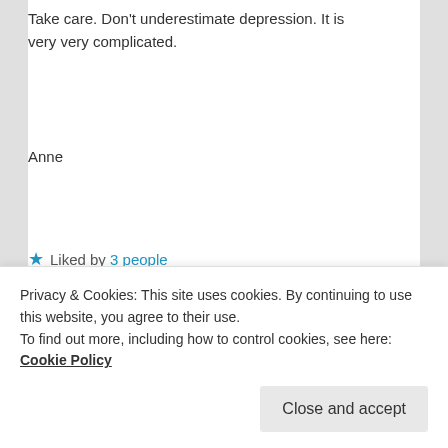Take care. Don't underestimate depression. It is very very complicated.
Anne
★ Liked by 3 people
Log in to Reply
limetwiste on April 30, 2020 at 12:53 pm said:
Thanks for your honesty. I have read Pema Chodron in the past. I like her. Will
Privacy & Cookies: This site uses cookies. By continuing to use this website, you agree to their use. To find out more, including how to control cookies, see here: Cookie Policy
Close and accept